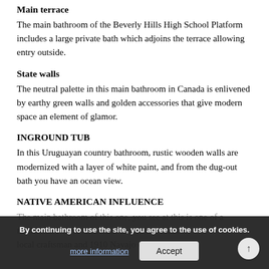Main terrace
The main bathroom of the Beverly Hills High School Platform includes a large private bath which adjoins the terrace allowing entry outside.
State walls
The neutral palette in this main bathroom in Canada is enlivened by earthy green walls and golden accessories that give modern space an element of glamor.
INGROUND TUB
In this Uruguayan country bathroom, rustic wooden walls are modernized with a layer of white paint, and from the dug-out bath you have an ocean view.
NATIVE AMERICAN INFLUENCE
The main bathroom of this one, you see at this is one of a traditional Native American design and made by local craftsman and 1910 Navajo carpets.
By continuing to use the site, you agree to the use of cookies.